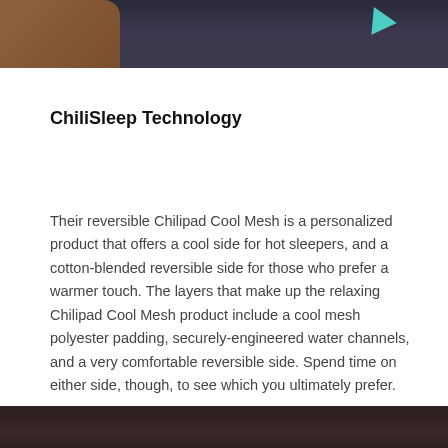[Figure (photo): Cropped photo showing a person wearing a dark navy sleeveless top with a teal triangular accent, and a brown arm visible on the left side]
ChiliSleep Technology
Their reversible Chilipad Cool Mesh is a personalized product that offers a cool side for hot sleepers, and a cotton-blended reversible side for those who prefer a warmer touch. The layers that make up the relaxing Chilipad Cool Mesh product include a cool mesh polyester padding, securely-engineered water channels, and a very comfortable reversible side. Spend time on either side, though, to see which you ultimately prefer.
[Figure (photo): Bottom portion of a photo, showing a dark brown surface partially visible at the bottom edge of the page]